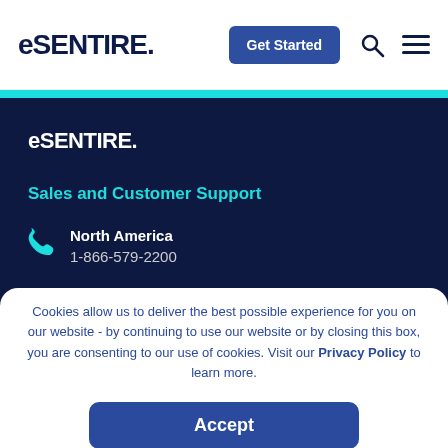eSentire  Get Started
[Figure (logo): eSentire logo in white on dark navy background]
Sales and Customer Support
North America  1-866-579-2200
EMEA  (0)8000 443242
Cookies allow us to deliver the best possible experience for you on our website - by continuing to use our website or by closing this box, you are consenting to our use of cookies. Visit our Privacy Policy to learn more.
Accept